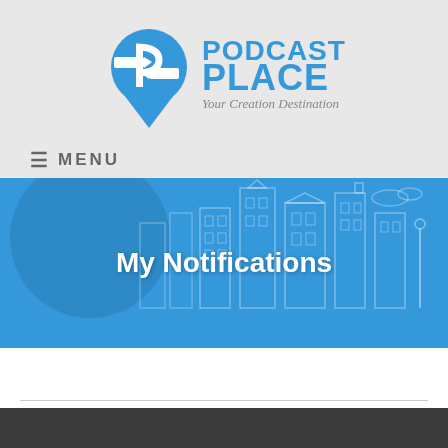[Figure (logo): Podcast Place logo with blue map pin icon and text 'PODCAST PLACE - Your Creation Destination']
≡ MENU
[Figure (illustration): Blue banner with city skyline illustration showing buildings, houses, and urban scenery in outline style]
My Notifications